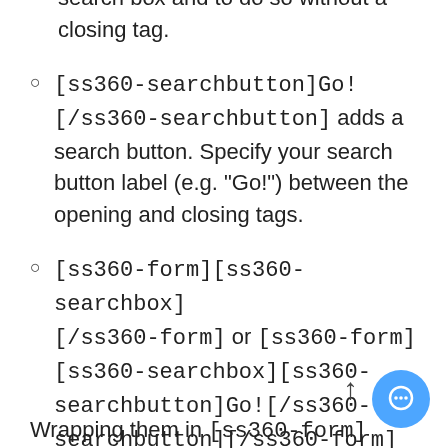search box and to do so without a closing tag.
[ss360-searchbutton]Go![/ss360-searchbutton] adds a search button. Specify your search button label (e.g. "Go!") between the opening and closing tags.
[ss360-form][ss360-searchbox][/ss360-form] or [ss360-form][ss360-searchbox][ss360-searchbutton]Go![/ss360-searchbutton][/ss360-form] In most cases, this is how you want to use our shortcodes.
Wrapping them in [ss360-form]